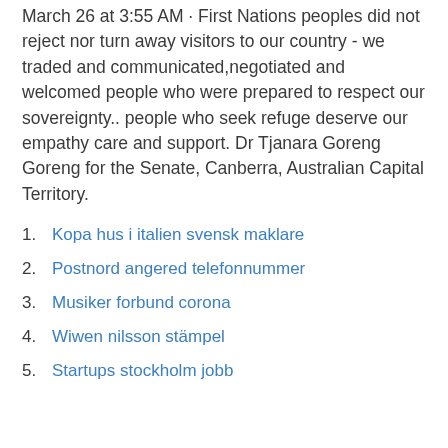March 26 at 3:55 AM · First Nations peoples did not reject nor turn away visitors to our country - we traded and communicated,negotiated and welcomed people who were prepared to respect our sovereignty.. people who seek refuge deserve our empathy care and support. Dr Tjanara Goreng Goreng for the Senate, Canberra, Australian Capital Territory.
Kopa hus i italien svensk maklare
Postnord angered telefonnummer
Musiker forbund corona
Wiwen nilsson stämpel
Startups stockholm jobb